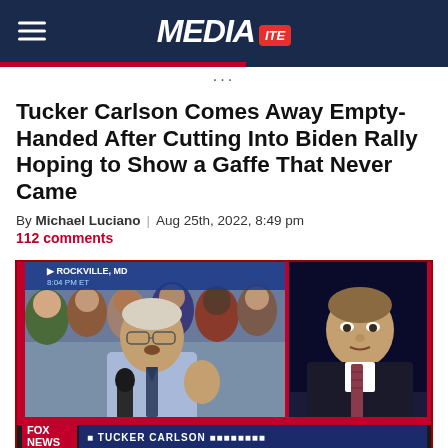MEDIA ITE
Tucker Carlson Comes Away Empty-Handed After Cutting Into Biden Rally Hoping to Show a Gaffe That Never Came
By Michael Luciano | Aug 25th, 2022, 8:49 pm
112 comments
[Figure (screenshot): Fox News screenshot showing split screen: Biden speaking at Rockville, MD rally on the left, Tucker Carlson on the right. Lower third reads TUCKER CARLSON. Chyron shows ROCKVILLE, MD 8:04 PM ET. Fox News logo in bottom left corner.]